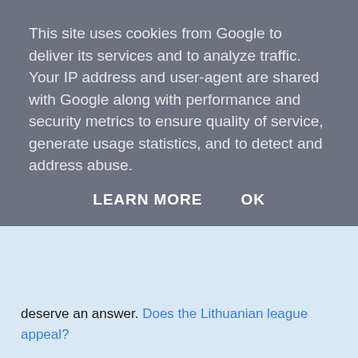This site uses cookies from Google to deliver its services and to analyze traffic. Your IP address and user-agent are shared with Google along with performance and security metrics to ensure quality of service, generate usage statistics, and to detect and address abuse.
LEARN MORE   OK
deserve an answer. Does the Lithuanian league appeal?
In the few moments of his day when Walter Smith stops agitating for a move he must be thanking his lucky stars that Rangers' financial crisis is being overshadowed by Celtic's struggles. As the fans depart in growing numbers Tony Mowbray urgently needs to find the Viagra that will cure his team's embarrassing impotence.
Murdo Macleod's on the case in the Record as he looks for the successors to Celtic's goal gladiators of the past. Goal gladiators? I don't know either but it seems to be further proof that Murdo's never really recovered from getting smacked in the face at the 1990 World Cup.